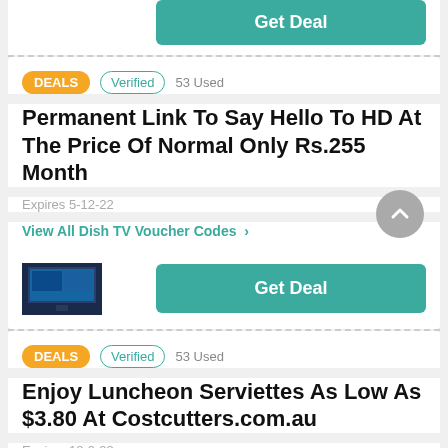[Figure (other): Get Deal teal button (top, partially visible)]
DEALS  Verified  53 Used
Permanent Link To Say Hello To HD At The Price Of Normal Only Rs.255 Month
Expires 5-12-22
View All Dish TV Voucher Codes >
[Figure (photo): Small thumbnail of a TV/display screen]
Get Deal
DEALS  Verified  53 Used
Enjoy Luncheon Serviettes As Low As $3.80 At Costcutters.com.au
Expires 18-9-22
[Figure (logo): Costcutters logo placeholder]
View All Costcutters.com.au Voucher Codes >